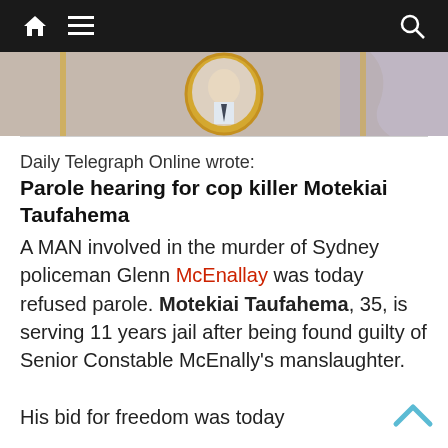Navigation bar with home, menu, and search icons
[Figure (photo): Partial photo showing a framed portrait of a person in a uniform against a textured wall background]
Daily Telegraph Online wrote:
Parole hearing for cop killer Motekiai Taufahema
A MAN involved in the murder of Sydney policeman Glenn McEnallay was today refused parole. Motekiai Taufahema, 35, is serving 11 years jail after being found guilty of Senior Constable McEnally's manslaughter.

His bid for freedom was today